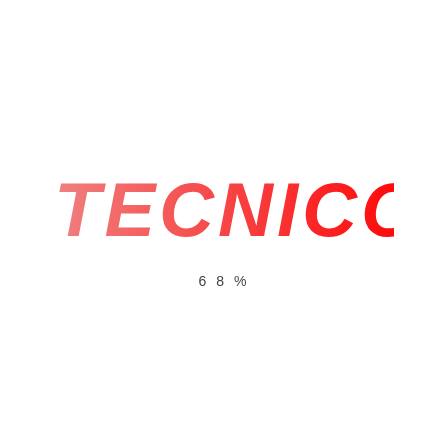[Figure (logo): TECNICO logo in bold italic red font with gradient from light red/pink on the left to bright red on the right]
68%